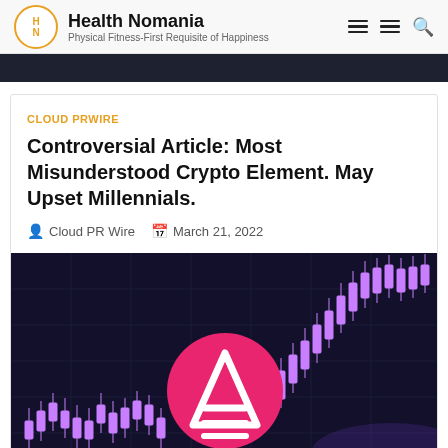Health Nomania — Physical Fitness-First Requisite of Happiness
CLOUD PRWIRE
Controversial Article: Most Misunderstood Crypto Element. May Upset Millennials.
Cloud PR Wire   March 21, 2022
[Figure (illustration): Cryptocurrency trading candlestick chart with a pink circle containing a stylized 'A' (Arweave) logo overlaid in center, purple candles on dark background]